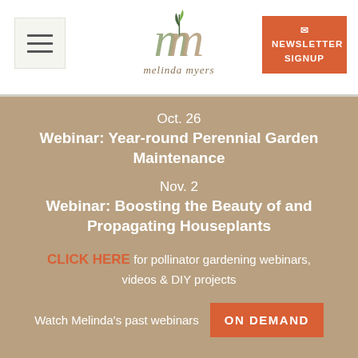[Figure (logo): Melinda Myers logo with stylized 'mm' letters and a small plant, with text 'melinda myers' below in serif italic]
NEWSLETTER SIGNUP
Oct. 26
Webinar: Year-round Perennial Garden Maintenance
Nov. 2
Webinar: Boosting the Beauty of and Propagating Houseplants
CLICK HERE for pollinator gardening webinars, videos & DIY projects
Watch Melinda's past webinars ON DEMAND